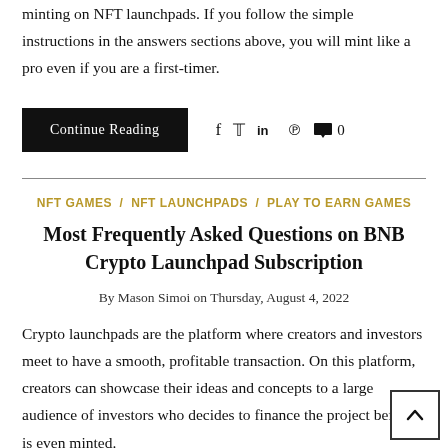minting on NFT launchpads. If you follow the simple instructions in the answers sections above, you will mint like a pro even if you are a first-timer.
Continue Reading
NFT GAMES / NFT LAUNCHPADS / PLAY TO EARN GAMES
Most Frequently Asked Questions on BNB Crypto Launchpad Subscription
By Mason Simoi on Thursday, August 4, 2022
Crypto launchpads are the platform where creators and investors meet to have a smooth, profitable transaction. On this platform, creators can showcase their ideas and concepts to a large audience of investors who decides to finance the project before it is even minted.